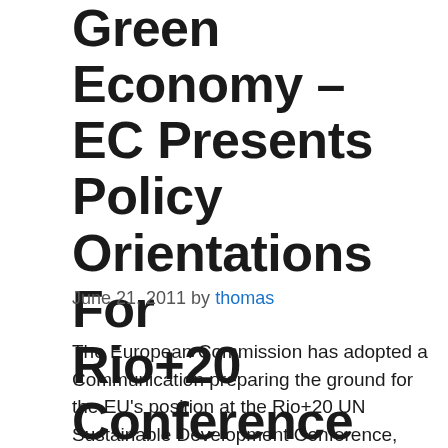Towards a Global Green Economy – EC Presents Policy Orientations For Rio+20 Conference
June 21, 2011 by thomas
The European Commission has adopted a Communication preparing the ground for the EU's position at the Rio+20 UN Sustainable Development Conference, which will be held in Rio de Janeiro in June 2012. The